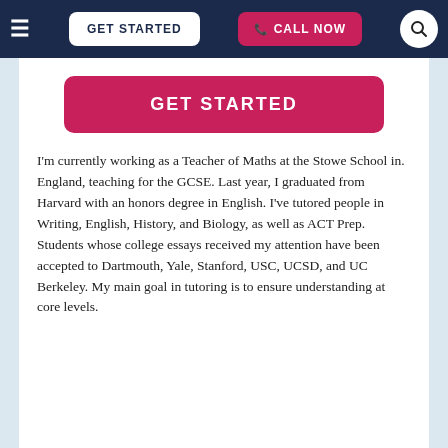≡   GET STARTED   📞 CALL NOW   🔍
[Figure (screenshot): GET STARTED button in pink/crimson color]
I'm currently working as a Teacher of Maths at the Stowe School in. England, teaching for the GCSE. Last year, I graduated from Harvard with an honors degree in English. I've tutored people in Writing, English, History, and Biology, as well as ACT Prep. Students whose college essays received my attention have been accepted to Dartmouth, Yale, Stanford, USC, UCSD, and UC Berkeley. My main goal in tutoring is to ensure understanding at core levels.